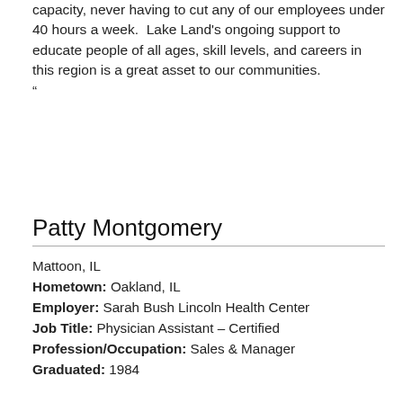capacity, never having to cut any of our employees under 40 hours a week.  Lake Land's ongoing support to educate people of all ages, skill levels, and careers in this region is a great asset to our communities. “
Patty Montgomery
Mattoon, IL
Hometown: Oakland, IL
Employer: Sarah Bush Lincoln Health Center
Job Title: Physician Assistant – Certified
Profession/Occupation: Sales & Manager
Graduated: 1984